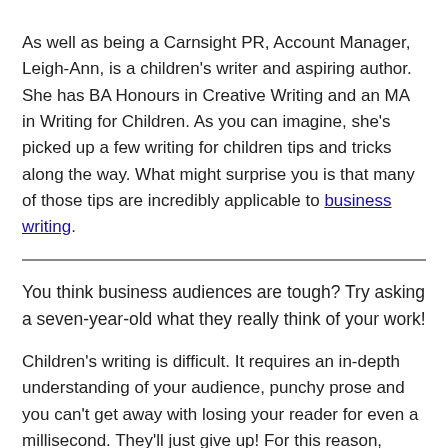As well as being a Carnsight PR, Account Manager, Leigh-Ann, is a children's writer and aspiring author. She has BA Honours in Creative Writing and an MA in Writing for Children. As you can imagine, she's picked up a few writing for children tips and tricks along the way. What might surprise you is that many of those tips are incredibly applicable to business writing.
You think business audiences are tough? Try asking a seven-year-old what they really think of your work!
Children's writing is difficult. It requires an in-depth understanding of your audience, punchy prose and you can't get away with losing your reader for even a millisecond. They'll just give up! For this reason, learning these five writing for children tips will make your business writing more engaging and pithy than ever.